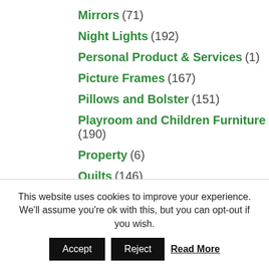Mirrors (71)
Night Lights (192)
Personal Product & Services (1)
Picture Frames (167)
Pillows and Bolster (151)
Playroom and Children Furniture (190)
Property (6)
Quilts (146)
Real Estate (2)
Residential Ceiling Fan (98)
This website uses cookies to improve your experience. We'll assume you're ok with this, but you can opt-out if you wish.